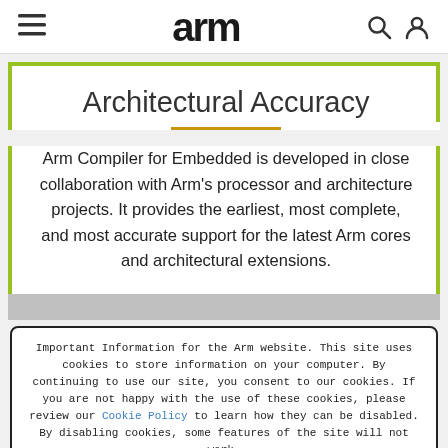arm (logo navigation bar with hamburger menu, search, and user icons)
Architectural Accuracy
Arm Compiler for Embedded is developed in close collaboration with Arm’s processor and architecture projects. It provides the earliest, most complete, and most accurate support for the latest Arm cores and architectural extensions.
Important Information for the Arm website. This site uses cookies to store information on your computer. By continuing to use our site, you consent to our cookies. If you are not happy with the use of these cookies, please review our Cookie Policy to learn how they can be disabled. By disabling cookies, some features of the site will not work.
Accept and hide this message ×